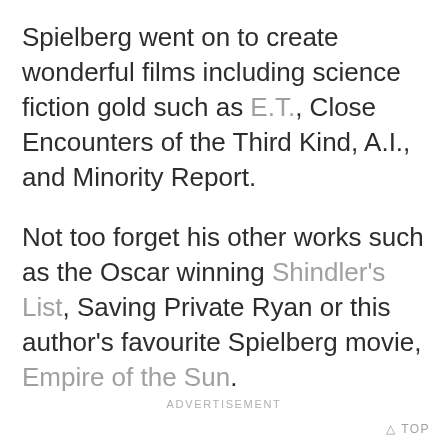Spielberg went on to create wonderful films including science fiction gold such as E.T., Close Encounters of the Third Kind, A.I., and Minority Report.
Not too forget his other works such as the Oscar winning Shindler's List, Saving Private Ryan or this author's favourite Spielberg movie, Empire of the Sun.
ADVERTISEMENT
0 TOP